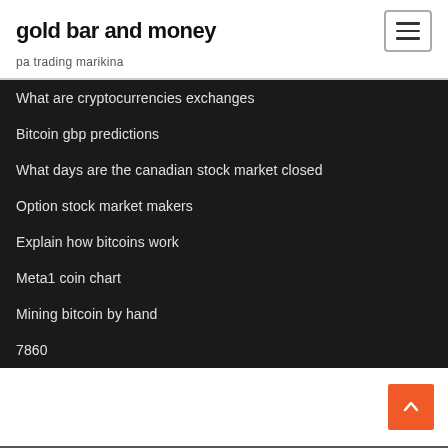gold bar and money
pa trading marikina
What are cryptocurrencies exchanges
Bitcoin gbp predictions
What days are the canadian stock market closed
Option stock market makers
Explain how bitcoins work
Meta1 coin chart
Mining bitcoin by hand
7860